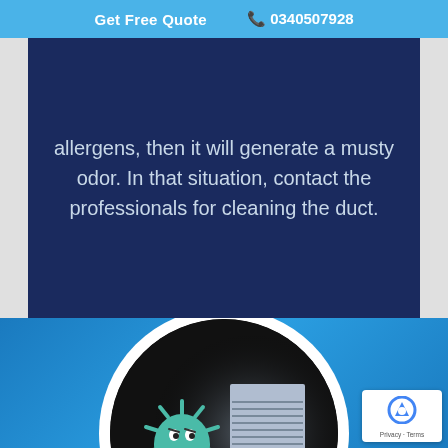Get Free Quote  📞 0340507928
allergens, then it will generate a musty odor. In that situation, contact the professionals for cleaning the duct.
[Figure (illustration): A blue-background section with a circular image. Inside the circle, a dark interior of a duct with a cartoon green germ/monster character on the left and an HVAC vent with an arrow pointing upward on the right.]